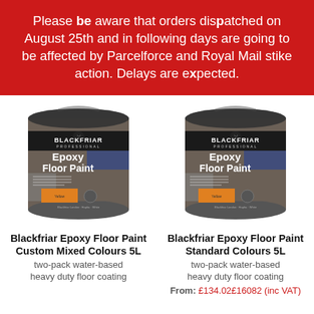Please be aware that orders dispatched on August 25th and in following days are going to be affected by Parcelforce and Royal Mail stike action. Delays are expected.
[Figure (photo): Paint tin — Blackfriar Professional Epoxy Floor Paint, Yellow colour, 5L]
[Figure (photo): Paint tin — Blackfriar Professional Epoxy Floor Paint, Yellow colour, 5L]
Blackfriar Epoxy Floor Paint Custom Mixed Colours 5L
two-pack water-based heavy duty floor coating
Blackfriar Epoxy Floor Paint Standard Colours 5L
two-pack water-based heavy duty floor coating
From: £134.02£16082 (inc VAT)